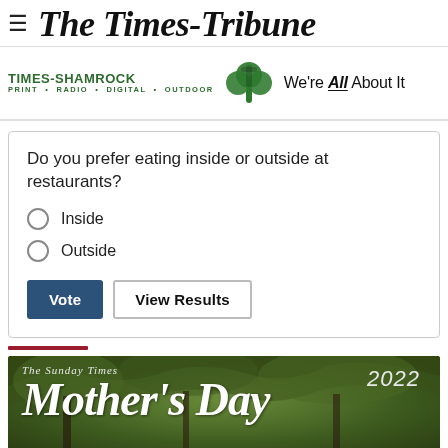The Times-Tribune
[Figure (logo): Times-Shamrock logo with shamrock icon and slogan 'We're All About It'. Text: TIMES-SHAMROCK PRINT · RADIO · DIGITAL · OUTDOOR]
Do you prefer eating inside or outside at restaurants?
Inside
Outside
[Figure (illustration): The Sunday Times Mother's Day 2022 promotional banner with decorative script text over a nature background]